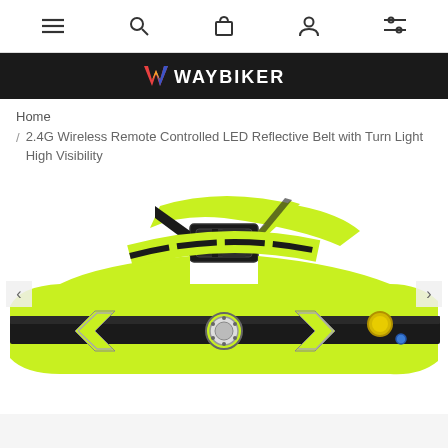Navigation bar with menu, search, cart, account, and settings icons
[Figure (logo): WAYBIKER brand logo with colorful W chevron on dark background]
Home
/ 2.4G Wireless Remote Controlled LED Reflective Belt with Turn Light High Visibility
[Figure (photo): Product photo of a neon yellow-green LED reflective safety belt with black buckle, dark reflective stripes, LED arrow indicators and circular LED light module]